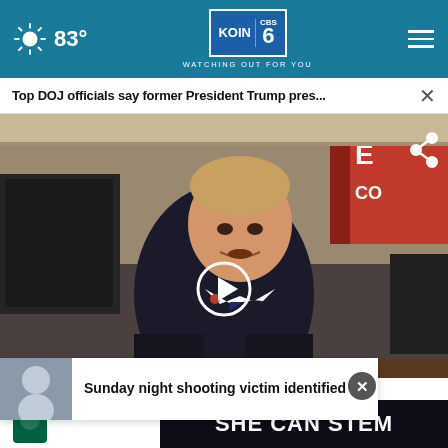83° KOIN 6 CBS WATCHING OUT FOR YOU
Top DOJ officials say former President Trump pres...
[Figure (photo): Video screenshot of former President Trump in a suit and striped tie, speaking in what appears to be the Oval Office area, with a red flag visible in the background. A circular play/pause icon is overlaid on the video.]
Sunday night shooting victim identified
SHE CAN STEM
— here's why
pen